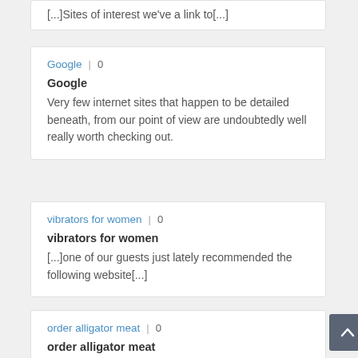[...]Sites of interest we've a link to[...]
Google | 0
Google
Very few internet sites that happen to be detailed beneath, from our point of view are undoubtedly well really worth checking out.
vibrators for women | 0
vibrators for women
[...]one of our guests just lately recommended the following website[...]
order alligator meat | 0
order alligator meat